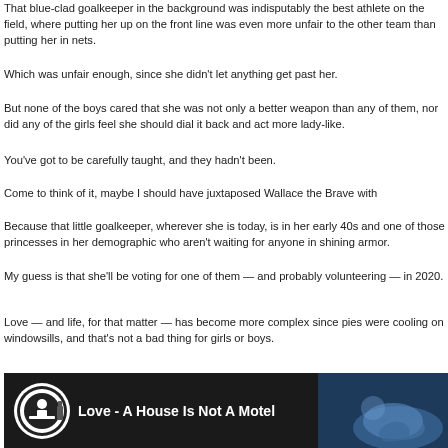That blue-clad goalkeeper in the background was indisputably the best athlete on the field, where putting her up on the front line was even more unfair to the other team than putting her in nets.
Which was unfair enough, since she didn't let anything get past her.
But none of the boys cared that she was not only a better weapon than any of them, nor did any of the girls feel she should dial it back and act more lady-like.
You've got to be carefully taught, and they hadn't been.
Come to think of it, maybe I should have juxtaposed Wallace the Brave with
Because that little goalkeeper, wherever she is today, is in her early 40s and one of those princesses in her demographic who aren't waiting for anyone in shining armor.
My guess is that she'll be voting for one of them — and probably volunteering — in 2020.
Love — and life, for that matter — has become more complex since pies were cooling on windowsills, and that's not a bad thing for girls or boys.
[Figure (screenshot): Video thumbnail for 'Love - A House Is Not A Motel' with dark background, circular logo on left, and animated/cartoon image on right]